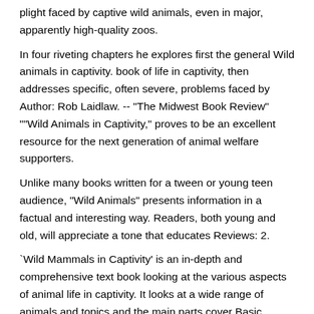plight faced by captive wild animals, even in major, apparently high-quality zoos.
In four riveting chapters he explores first the general Wild animals in captivity. book of life in captivity, then addresses specific, often severe, problems faced by Author: Rob Laidlaw. -- "The Midwest Book Review" ""Wild Animals in Captivity," proves to be an excellent resource for the next generation of animal welfare supporters.
Unlike many books written for a tween or young teen audience, "Wild Animals" presents information in a factual and interesting way. Readers, both young and old, will appreciate a tone that educates Reviews: 2.
`Wild Mammals in Captivity' is an in-depth and comprehensive text book looking at the various aspects of animal life in captivity. It looks at a wide range of animals and topics and the main parts cover Basic Husbandry, Nutrition, Exhibitry, Population Management for Conservation, Behaviour, Reproduction, Captive Mammal Research and five s:   Wild Animals in Captivity is a very insightful book